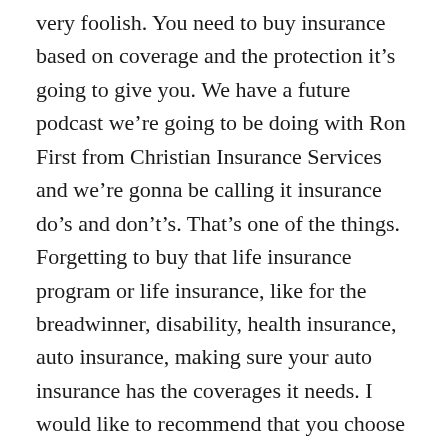very foolish. You need to buy insurance based on coverage and the protection it's going to give you. We have a future podcast we're going to be doing with Ron First from Christian Insurance Services and we're gonna be calling it insurance do's and don't's. That's one of the things. Forgetting to buy that life insurance program or life insurance, like for the breadwinner, disability, health insurance, auto insurance, making sure your auto insurance has the coverages it needs. I would like to recommend that you choose an independent insurance agent, not a captive one where that's the only company that they can sell. That company is gonna be pushing them to sell that. So that's one of the things that I see people forget about is that one. Number 20 is not having a will. So if they died prematurely, that